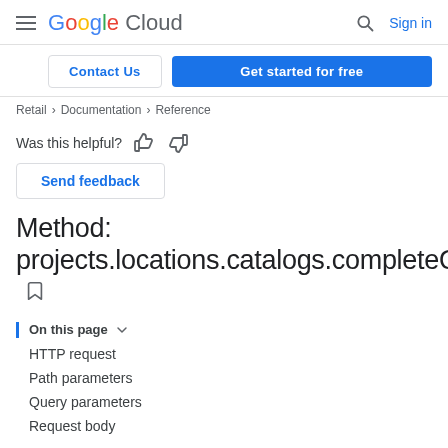Google Cloud  [search] Sign in
Contact Us  Get started for free
Retail > Documentation > Reference
Was this helpful? [thumbs up] [thumbs down]
Send feedback
Method: projects.locations.catalogs.completeQuery
On this page
HTTP request
Path parameters
Query parameters
Request body